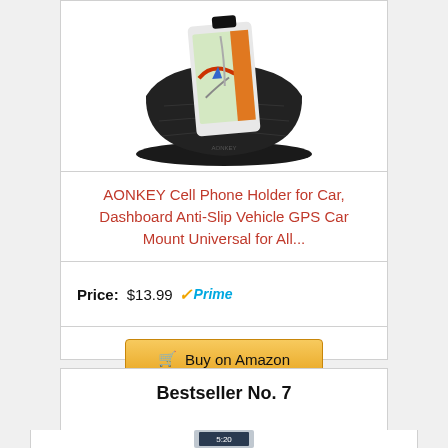[Figure (photo): Product photo of AONKEY Cell Phone Holder/Dashboard Mount with a white smartphone showing a navigation/GPS map on the screen, mounted on a black non-slip dashboard pad]
AONKEY Cell Phone Holder for Car, Dashboard Anti-Slip Vehicle GPS Car Mount Universal for All...
Price: $13.99 ✓Prime
Buy on Amazon
Bestseller No. 7
[Figure (photo): Partial product image visible at the bottom of the page]